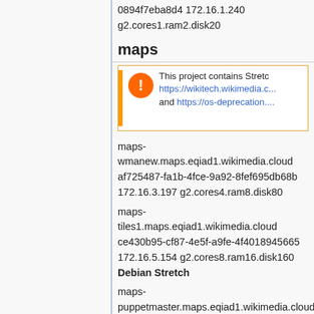0894f7eba8d4 172.16.1.240
g2.cores1.ram2.disk20
maps
This project contains Stretch... https://wikitech.wikimedia.o... and https://os-deprecation....
maps-wmanew.maps.eqiad1.wikimedia.cloud af725487-fa1b-4fce-9a92-8fef695db68b 172.16.3.197 g2.cores4.ram8.disk80
maps-tiles1.maps.eqiad1.wikimedia.cloud ce430b95-cf87-4e5f-a9fe-4f4018945665 172.16.5.154 g2.cores8.ram16.disk160
Debian Stretch
maps-puppetmaster.maps.eqiad1.wikimedia.cloud